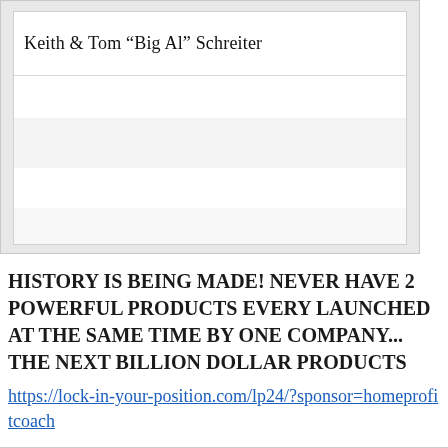[Figure (other): Card/table widget with author name 'Keith & Tom "Big Al" Schreiter' and several empty rows with light gray backgrounds and dividing lines]
HISTORY IS BEING MADE! NEVER HAVE 2 POWERFUL PRODUCTS EVERY LAUNCHED AT THE SAME TIME BY ONE COMPANY... THE NEXT BILLION DOLLAR PRODUCTS https://lock-in-your-position.com/lp24/?sponsor=homeprofitcoach